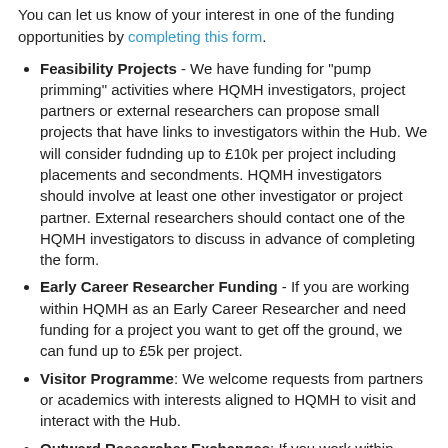You can let us know of your interest in one of the funding opportunities by completing this form.
Feasibility Projects - We have funding for "pump primming" activities where HQMH investigators, project partners or external researchers can propose small projects that have links to investigators within the Hub. We will consider fudnding up to £10k per project including placements and secondments. HQMH investigators should involve at least one other investigator or project partner. External researchers should contact one of the HQMH investigators to discuss in advance of completing the form.
Early Career Researcher Funding - If you are working within HQMH as an Early Career Researcher and need funding for a project you want to get off the ground, we can fund up to £5k per project.
Visitor Programme: We welcome requests from partners or academics with interests aligned to HQMH to visit and interact with the Hub.
Outward Researcher Exchanges: If you work within